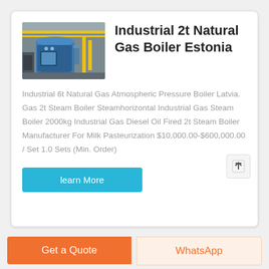[Figure (photo): Industrial boiler equipment in a factory setting with yellow pipes and blue machinery]
Industrial 2t Natural Gas Boiler Estonia
Industrial 6t Natural Gas Atmospheric Pressure Boiler Latvia. Gas 2t Steam Boiler Steamhorizontal Industrial Gas Steam Boiler 2000kg Industrial Gas Diesel Oil Fired 2t Steam Boiler Manufacturer For Milk Pasteurization $10,000.00-$600,000.00 / Set 1.0 Sets (Min. Order)
learn More
Get a Quote
WhatsApp